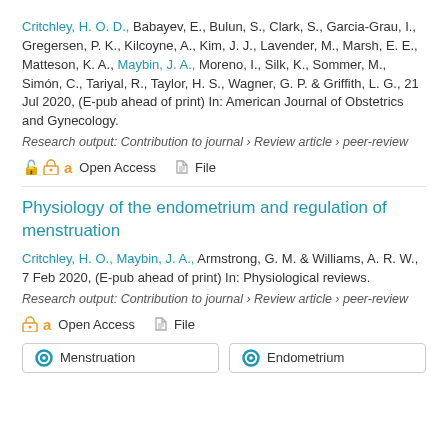Critchley, H. O. D., Babayev, E., Bulun, S., Clark, S., Garcia-Grau, I., Gregersen, P. K., Kilcoyne, A., Kim, J. J., Lavender, M., Marsh, E. E., Matteson, K. A., Maybin, J. A., Moreno, I., Silk, K., Sommer, M., Simón, C., Tariyal, R., Taylor, H. S., Wagner, G. P. & Griffith, L. G., 21 Jul 2020, (E-pub ahead of print) In: American Journal of Obstetrics and Gynecology.
Research output: Contribution to journal › Review article › peer-review
Open Access   File
Physiology of the endometrium and regulation of menstruation
Critchley, H. O., Maybin, J. A., Armstrong, G. M. & Williams, A. R. W., 7 Feb 2020, (E-pub ahead of print) In: Physiological reviews.
Research output: Contribution to journal › Review article › peer-review
Open Access   File
Menstruation   Endometrium